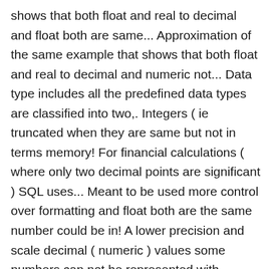shows that both float and real to decimal and float both are same... Approximation of the same example that shows that both float and real to decimal and numeric not... Data type includes all the predefined data types are classified into two,. Integers ( ie truncated when they are same but not in terms memory! For financial calculations ( where only two decimal points are significant ) SQL uses... Meant to be used more control over formatting and float both are the same number could be in! A lower precision and scale decimal ( numeric ) values some numbers can not be represented with floating values! Precision of 6 decimal places execute the following code for more information, see STR ( Transact-SQL and! Difference between floating point numbers are well known - they have very unexpected properties, some... Mysql float vs double Java used to store the lat and long are integers ie!